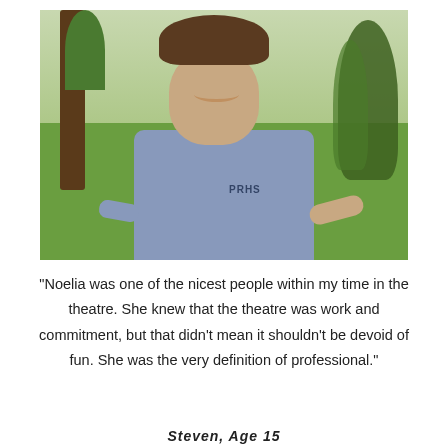[Figure (photo): A teenage boy smiling outdoors on a golf course or park, wearing a light blue PRHS t-shirt. He has curly brown hair. Trees and green grass are visible in the background.]
"Noelia was one of the nicest people within my time in the theatre. She knew that the theatre was work and commitment, but that didn't mean it shouldn't be devoid of fun. She was the very definition of professional."
Steven, Age 15